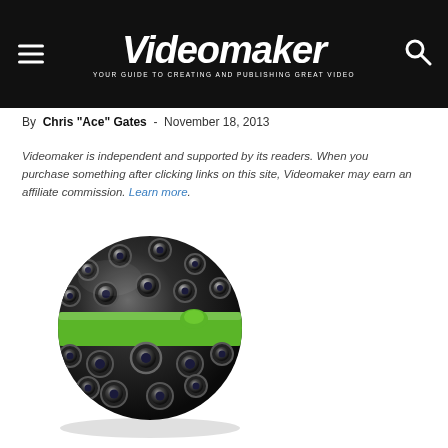Videomaker — YOUR GUIDE TO CREATING AND PUBLISHING GREAT VIDEO
By Chris "Ace" Gates - November 18, 2013
Videomaker is independent and supported by its readers. When you purchase something after clicking links on this site, Videomaker may earn an affiliate commission. Learn more.
[Figure (photo): A spherical black camera with multiple lenses and a green band around its equator, seen from the front.]